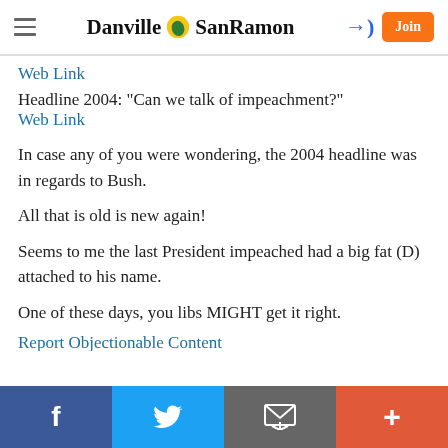Danville SanRamon
Web Link
Headline 2004: "Can we talk of impeachment?"
Web Link
In case any of you were wondering, the 2004 headline was in regards to Bush.
All that is old is new again!
Seems to me the last President impeached had a big fat (D) attached to his name.
One of these days, you libs MIGHT get it right.
Report Objectionable Content
f | Twitter | mail | +